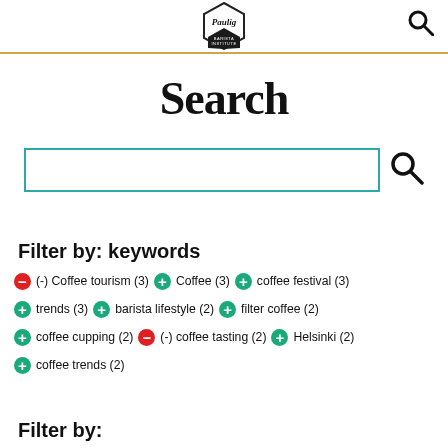Paulig Barista Institute logo and search icon
Search
[Figure (other): Search input box with teal border and search icon]
Filter by: keywords
(-) Coffee tourism (3)   (+) Coffee (3)   (+) coffee festival (3)
(+) trends (3)   (+) barista lifestyle (2)   (+) filter coffee (2)
(+) coffee cupping (2)   (-) coffee tasting (2)   (+) Helsinki (2)
(+) coffee trends (2)
Filter by: